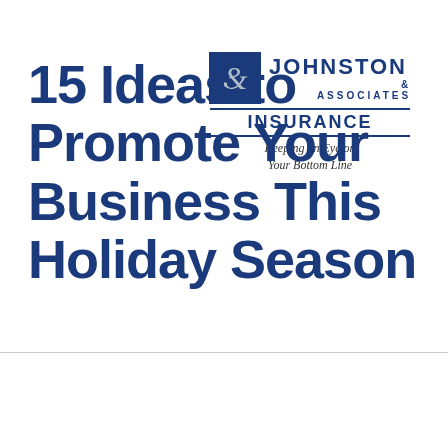[Figure (logo): Johnston & Associates Insurance logo with blue box, company name, and tagline 'Keeping an Eye on Your Bottom Line']
15 Ideas to Promote Your Business This Holiday Season
MENU ☰